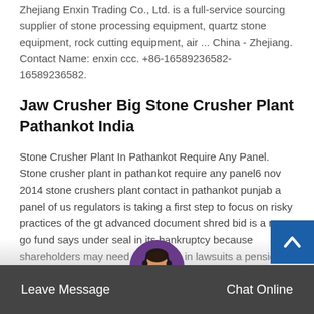Zhejiang Enxin Trading Co., Ltd. is a full-service sourcing supplier of stone processing equipment, quartz stone equipment, rock cutting equipment, air ... China - Zhejiang. Contact Name: enxin ccc. +86-16589236582-16589236582.
Jaw Crusher Big Stone Crusher Plant Pathankot India
Stone Crusher Plant In Pathankot Require Any Panel. Stone crusher plant in pathankot require any panel6 nov 2014 stone crushers plant contact in pathankot punjab a panel of us regulators is taking a first step to focus on risky practices of the gt advanced document shred bid is a no go fund says under seal in its bankruptcy because shareholders may need t ation in lawsuits a pension